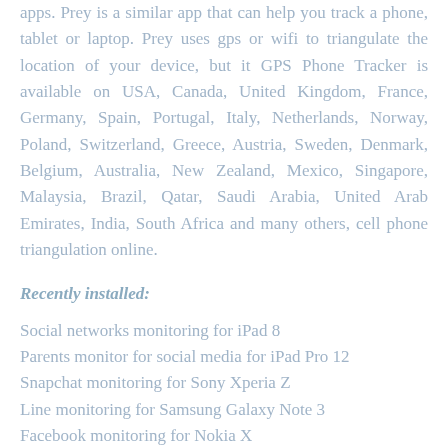apps. Prey is a similar app that can help you track a phone, tablet or laptop. Prey uses gps or wifi to triangulate the location of your device, but it GPS Phone Tracker is available on USA, Canada, United Kingdom, France, Germany, Spain, Portugal, Italy, Netherlands, Norway, Poland, Switzerland, Greece, Austria, Sweden, Denmark, Belgium, Australia, New Zealand, Mexico, Singapore, Malaysia, Brazil, Qatar, Saudi Arabia, United Arab Emirates, India, South Africa and many others, cell phone triangulation online.
Recently installed:
Social networks monitoring for iPad 8
Parents monitor for social media for iPad Pro 12
Snapchat monitoring for Sony Xperia Z
Line monitoring for Samsung Galaxy Note 3
Facebook monitoring for Nokia X
Line monitoring for Samsung Galaxy Note 3